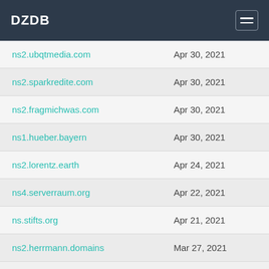DZDB
| Domain | Date |
| --- | --- |
| ns2.ubqtmedia.com | Apr 30, 2021 |
| ns2.sparkredite.com | Apr 30, 2021 |
| ns2.fragmichwas.com | Apr 30, 2021 |
| ns1.hueber.bayern | Apr 30, 2021 |
| ns2.lorentz.earth | Apr 24, 2021 |
| ns4.serverraum.org | Apr 22, 2021 |
| ns.stifts.org | Apr 21, 2021 |
| ns2.herrmann.domains | Mar 27, 2021 |